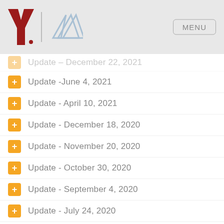[Figure (logo): YMCA logo (red Y) and fitness first triangular logo, with MENU button on the right]
Update – December 22, 2021
Update -June 4, 2021
Update - April 10, 2021
Update - December 18, 2020
Update - November 20, 2020
Update - October 30, 2020
Update - September 4, 2020
Update - July 24, 2020
Update - Reopening July 16, 2020
Update - Targeted Re-opening July 16, 2020